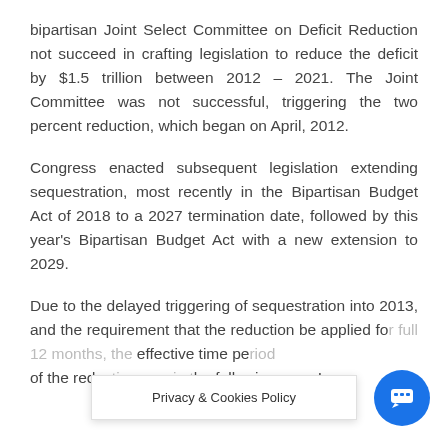bipartisan Joint Select Committee on Deficit Reduction not succeed in crafting legislation to reduce the deficit by $1.5 trillion between 2012 – 2021. The Joint Committee was not successful, triggering the two percent reduction, which began on April, 2012.
Congress enacted subsequent legislation extending sequestration, most recently in the Bipartisan Budget Act of 2018 to a 2027 termination date, followed by this year's Bipartisan Budget Act with a new extension to 2029.
Due to the delayed triggering of sequestration into 2013, and the requirement that the reduction be applied fo[r a full 12 months, the] effective time pe[riod] of the red[uction was actually in t]he following year. In
Privacy & Cookies Policy